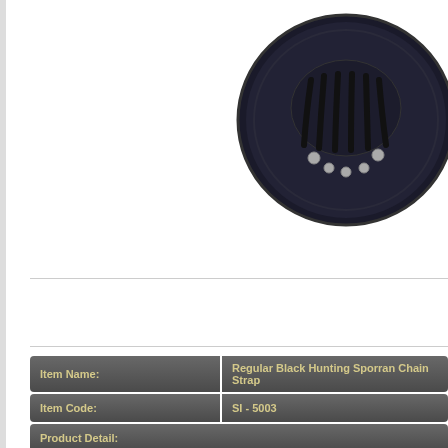[Figure (photo): Close-up of a black leather hunting sporran with decorative tassels and nickel studs, circular shape, dark background.]
Prev
| Item Name: | Regular Black Hunting Sporran Chain Strap |
| --- | --- |
| Item Code: | SI - 5003 |
Product Detail:
Sporran is made of genuine leather ( black ), nickel plated brass cantle with Celtic design, and included.
THE SPORRAN MEASURES 8.5" (22CM) LONG X 7" (18CM) ACROS
Enter Quantity: 50